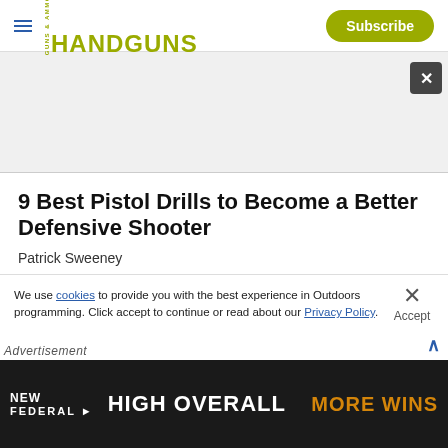HANDGUNS | Subscribe
[Figure (photo): White/light gray placeholder image area for article header photo]
9 Best Pistol Drills to Become a Better Defensive Shooter
Patrick Sweeney
We use cookies to provide you with the best experience in Outdoors programming. Click accept to continue or read about our Privacy Policy.
Advertisement
[Figure (photo): Federal Ammunition advertisement banner: NEW FEDERAL HIGH OVER ALL MORE WINS]